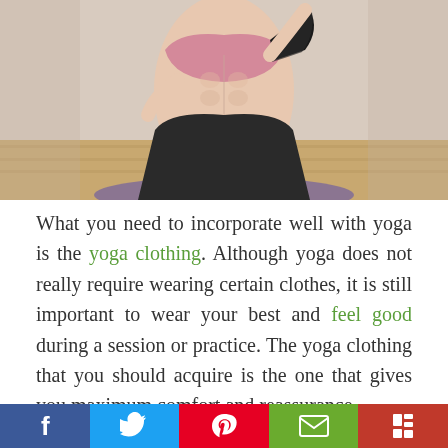[Figure (photo): Woman in yoga/fitness pose wearing pink sports bra and black leggings, photographed from mid-torso up, on a purple yoga mat in a gym with wooden floor background]
What you need to incorporate well with yoga is the yoga clothing. Although yoga does not really require wearing certain clothes, it is still important to wear your best and feel good during a session or practice. The yoga clothing that you should acquire is the one that gives you maximum comfort and reassurance.
Yoga clothing needs to be loose, stretchable, and made of cottony fiber so that it will keep you
Facebook  Twitter  Pinterest  Email  Flipboard